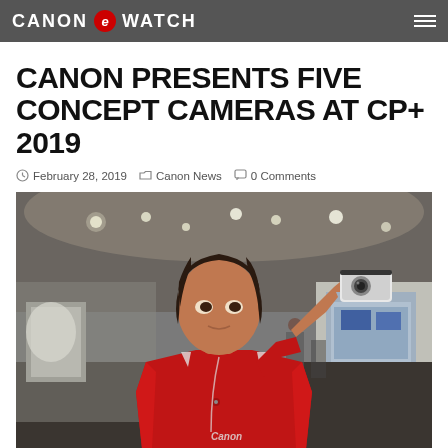CANON WATCH
CANON PRESENTS FIVE CONCEPT CAMERAS AT CP+ 2019
February 28, 2019   Canon News   0 Comments
[Figure (photo): A Canon staff member wearing a red Canon uniform holds up a small white concept camera in front of their eye at the CP+ 2019 trade show. The exhibition hall is visible in the background with bright ceiling lights.]